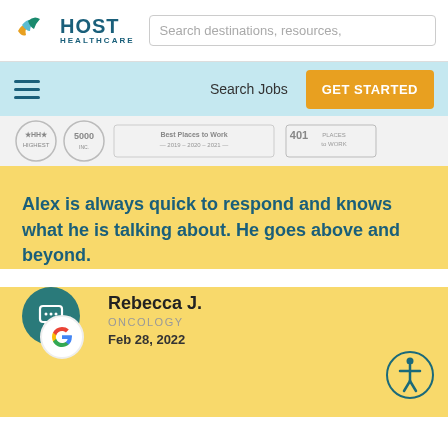[Figure (logo): Host Healthcare logo with stylized sun/wave icon and teal 'HOST HEALTHCARE' text]
Search destinations, resources,
Search Jobs
GET STARTED
[Figure (illustration): Award badges strip: HHA, 5000, Best Places to Work 2019-2020-2021, 401 Places to Work]
Alex is always quick to respond and knows what he is talking about. He goes above and beyond.
Rebecca J.
ONCOLOGY
Feb 28, 2022